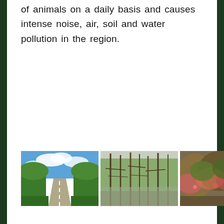of animals on a daily basis and causes intense noise, air, soil and water pollution in the region.
[Figure (photo): Row of three landscape/nature photographs showing forest and vegetation scenes, with a partial fourth image at the right edge.]